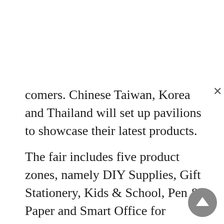comers. Chinese Taiwan, Korea and Thailand will set up pavilions to showcase their latest products.
The fair includes five product zones, namely DIY Supplies, Gift Stationery, Kids & School, Pen & Paper and Smart Office for effective and easy sourcing.
Ningbo Lesda Stationery Co Ltd from the Chinese mainland will display the Sanri Bear 4D Art Set, which is an interactive educational product with augmented reality (AR) application. Children can